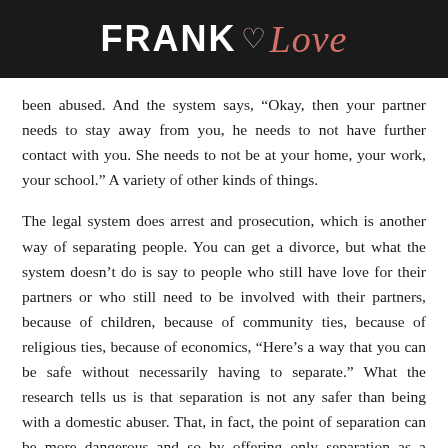FRANK Love
been abused. And the system says, “Okay, then your partner needs to stay away from you, he needs to not have further contact with you. She needs to not be at your home, your work, your school.” A variety of other kinds of things.
The legal system does arrest and prosecution, which is another way of separating people. You can get a divorce, but what the system doesn’t do is say to people who still have love for their partners or who still need to be involved with their partners, because of children, because of community ties, because of religious ties, because of economics, “Here’s a way that you can be safe without necessarily having to separate.” What the research tells us is that separation is not any safer than being with a domestic abuser. That, in fact, the point of separation can be more dangerous and so by offering only separation as a remedy, it really doesn’t give people very much.